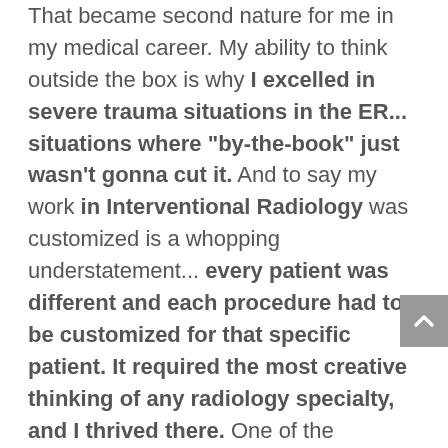That became second nature for me in my medical career. My ability to think outside the box is why I excelled in severe trauma situations in the ER... situations where "by-the-book" just wasn't gonna cut it. And to say my work in Interventional Radiology was customized is a whopping understatement... every patient was different and each procedure had to be customized for that specific patient. It required the most creative thinking of any radiology specialty, and I thrived there. One of the interventional radiologists I worked with used to tell me that if I had the correct letters after my name I could